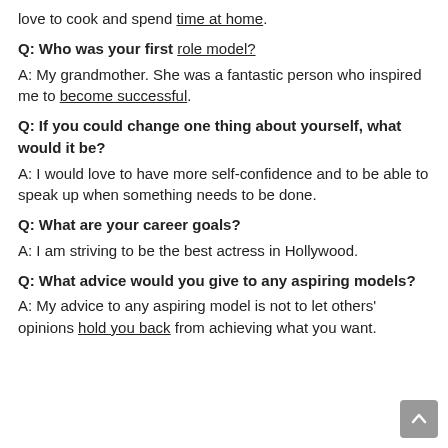love to cook and spend time at home.
Q: Who was your first role model?
A: My grandmother. She was a fantastic person who inspired me to become successful.
Q: If you could change one thing about yourself, what would it be?
A: I would love to have more self-confidence and to be able to speak up when something needs to be done.
Q: What are your career goals?
A: I am striving to be the best actress in Hollywood.
Q: What advice would you give to any aspiring models?
A: My advice to any aspiring model is not to let others' opinions hold you back from achieving what you want.